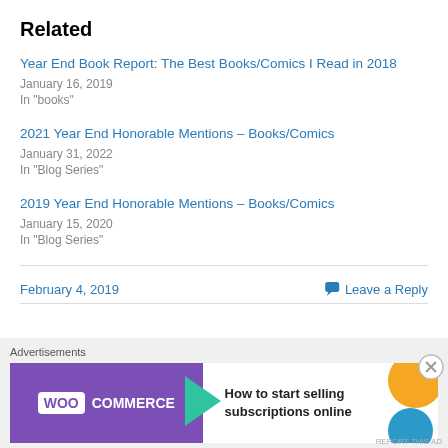Related
Year End Book Report: The Best Books/Comics I Read in 2018
January 16, 2019
In "books"
2021 Year End Honorable Mentions – Books/Comics
January 31, 2022
In "Blog Series"
2019 Year End Honorable Mentions – Books/Comics
January 15, 2020
In "Blog Series"
February 4, 2019
Leave a Reply
[Figure (infographic): WooCommerce advertisement banner: purple left panel with WooCommerce logo and green arrow, white right panel with text 'How to start selling subscriptions online' with orange and blue decorative circles]